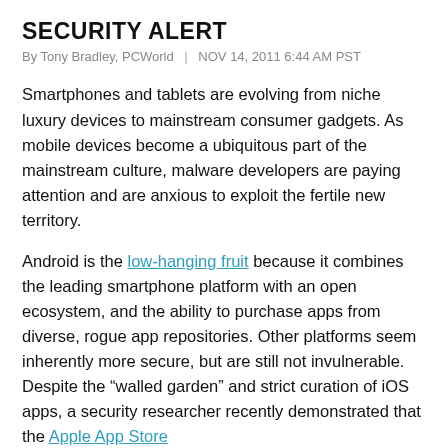SECURITY ALERT
By Tony Bradley, PCWorld  |  NOV 14, 2011 6:44 AM PST
Smartphones and tablets are evolving from niche luxury devices to mainstream consumer gadgets. As mobile devices become a ubiquitous part of the mainstream culture, malware developers are paying attention and are anxious to exploit the fertile new territory.
Android is the low-hanging fruit because it combines the leading smartphone platform with an open ecosystem, and the ability to purchase apps from diverse, rogue app repositories. Other platforms seem inherently more secure, but are still not invulnerable. Despite the “walled garden” and strict curation of iOS apps, a security researcher recently demonstrated that the Apple App Store